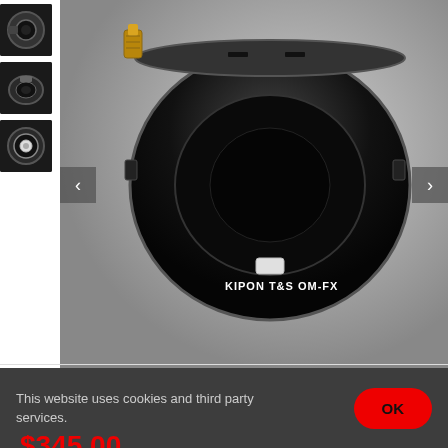[Figure (photo): Product photo of KIPON T&S OM-FX lens adapter ring, black metal, shown from above with gold screw fitting, with three thumbnail views on the left showing different angles of the adapter]
T&S OM-FX
SKU 6972785176079
Be the first to leave a review.
$345.00
This website uses cookies and third party services.